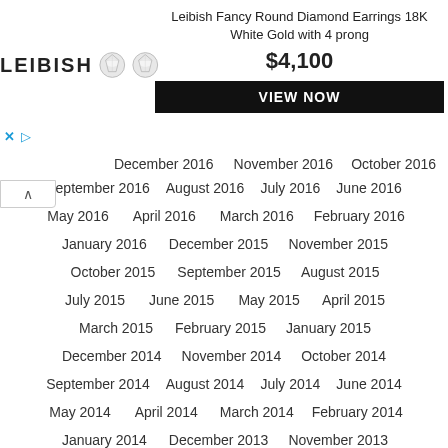[Figure (infographic): Leibish advertisement banner with logo, two diamond earring images, product title 'Leibish Fancy Round Diamond Earrings 18K White Gold with 4 prong', price '$4,100', and 'VIEW NOW' button]
December 2016   November 2016   October 2016
September 2016   August 2016   July 2016   June 2016
May 2016   April 2016   March 2016   February 2016
January 2016   December 2015   November 2015
October 2015   September 2015   August 2015
July 2015   June 2015   May 2015   April 2015
March 2015   February 2015   January 2015
December 2014   November 2014   October 2014
September 2014   August 2014   July 2014   June 2014
May 2014   April 2014   March 2014   February 2014
January 2014   December 2013   November 2013
October 2013   September 2013   August 2013